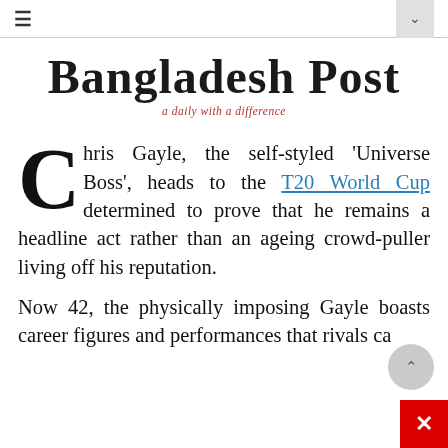≡  ∨
Bangladesh Post
a daily with a difference
Chris Gayle, the self-styled 'Universe Boss', heads to the T20 World Cup determined to prove that he remains a headline act rather than an ageing crowd-puller living off his reputation.
Now 42, the physically imposing Gayle boasts career figures and performances that rivals ca